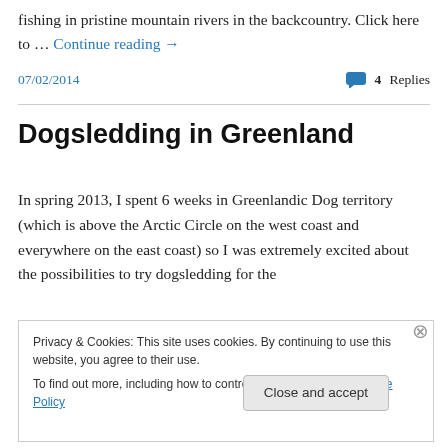fishing in pristine mountain rivers in the backcountry. Click here to … Continue reading →
07/02/2014
💬 4 Replies
Dogsledding in Greenland
In spring 2013, I spent 6 weeks in Greenlandic Dog territory (which is above the Arctic Circle on the west coast and everywhere on the east coast) so I was extremely excited about the possibilities to try dogsledding for the
Privacy & Cookies: This site uses cookies. By continuing to use this website, you agree to their use.
To find out more, including how to control cookies, see here: Cookie Policy